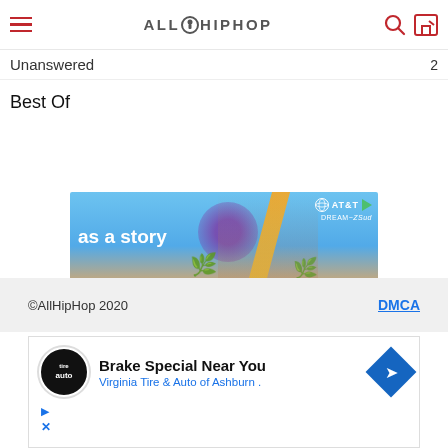AllHipHop
Unanswered
Best Of
[Figure (photo): AT&T DIRECTV Stream advertisement banner showing 'as a story' text with three people and AT&T logo]
ezoic  report this ad
©AllHipHop 2020    DMCA
[Figure (screenshot): Google ad unit showing 'Brake Special Near You' with Virginia Tire & Auto of Ashburn, tire logo, and navigation arrow icon]